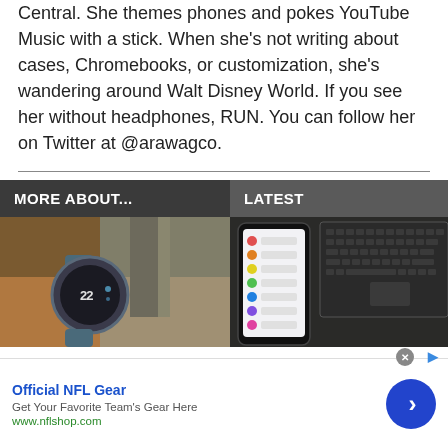Central. She themes phones and pokes YouTube Music with a stick. When she's not writing about cases, Chromebooks, or customization, she's wandering around Walt Disney World. If you see her without headphones, RUN. You can follow her on Twitter at @arawagco.
MORE ABOUT...
LATEST
[Figure (photo): A smartwatch with dark circular face and band, resting on a wooden surface with a book in the background.]
[Figure (photo): A smartphone with colorful app icons visible on screen, placed next to a laptop keyboard on a dark surface.]
Official NFL Gear
Get Your Favorite Team's Gear Here
www.nflshop.com